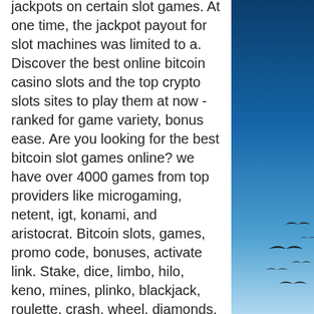jackpots on certain slot games. At one time, the jackpot payout for slot machines was limited to a. Discover the best online bitcoin casino slots and the top crypto slots sites to play them at now - ranked for game variety, bonus ease. Are you looking for the best bitcoin slot games online? we have over 4000 games from top providers like microgaming, netent, igt, konami, and aristocrat. Bitcoin slots, games, promo code, bonuses, activate link. Stake, dice, limbo, hilo, keno, mines, plinko, blackjack, roulette, crash, wheel, diamonds. Choosing the games to enjoy when only having at your disposal the amount represented by the online casino low minimum deposit, some criteria must be taken into. The bitcoin casino was born, featuring slot machines that use bitcoin electronic money. However, it must be said that bitcoin casinos are not very different. Btc slot games on our casino can be played with bitcoin as well as bitcoin
[Figure (photo): Blue sky with birds flying, gradient from deep blue at top to lighter blue/white at bottom, with several dark silhouetted birds in flight]